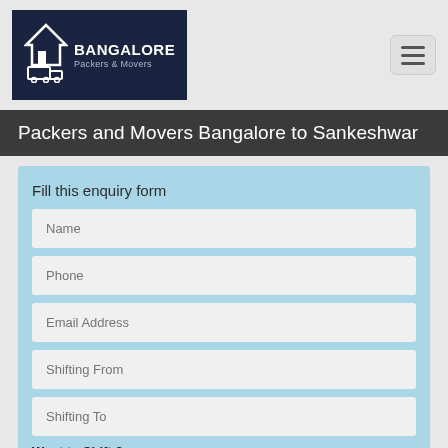[Figure (logo): Bangalore Packers & Movers logo: white house and truck icon on dark navy background, text 'BANGALORE Packers & Movers']
Packers and Movers Bangalore to Sankeshwar
Fill this enquiry form
Name (input field)
Phone (input field)
Email Address (input field)
Shifting From (input field)
Shifting To (input field)
Want to Shift ?
Household   Car   Bike   Mini Tempo